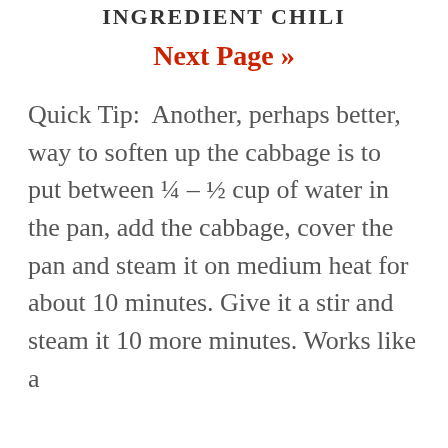INGREDIENT CHILI
Next Page »
Quick Tip:  Another, perhaps better, way to soften up the cabbage is to put between ¼ – ½ cup of water in the pan, add the cabbage, cover the pan and steam it on medium heat for about 10 minutes. Give it a stir and steam it 10 more minutes. Works like a